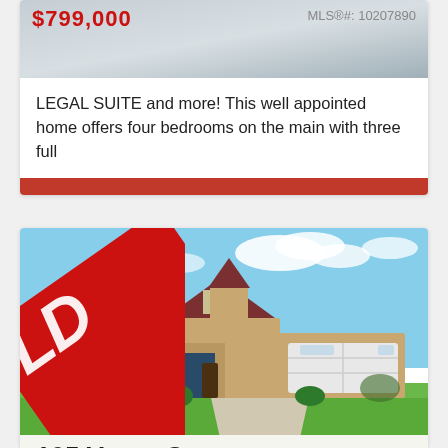[Figure (photo): Real estate listing card top portion showing price $799,000 and MLS number 10207890 with a house photo]
LEGAL SUITE and more! This well appointed home offers four bedrooms on the main with three full
VIEW LISTING
[Figure (photo): Photo of a sold house at 105 Verna Court with a red SOLD ribbon overlay on the left side]
105 Verna Court
$799,000